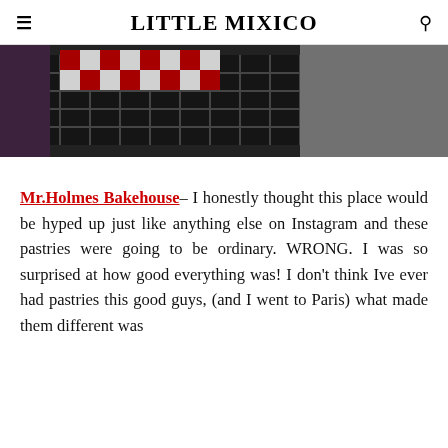LITTLE MIXICO
[Figure (photo): Close-up photo of items in a black wire basket with checkered red and white paper, on a grey surface]
Mr.Holmes Bakehouse– I honestly thought this place would be hyped up just like anything else on Instagram and these pastries were going to be ordinary. WRONG. I was so surprised at how good everything was! I don't think Ive ever had pastries this good guys, (and I went to Paris) what made them different was